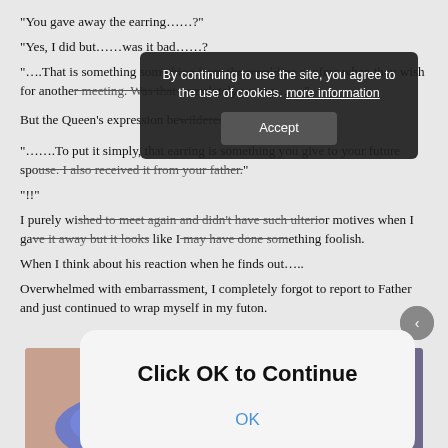“You gave away the earring……?”
“Yes, I did but……was it bad……?
“….That is something someone from the royal line confers when they wish for another meeting. Was that completely wrong……”
But the Queen’s expression bewildered me.
“…….To put it simply, that earring is something you give to your future spouse. I also received it from your father.”
“!!”
I purely wished to meet again and didn’t have such ulterior motives when I gave it away but it looks like I may have done something foolish.
When I think about his reaction when he finds out…..
Overwhelmed with embarrassment, I completely forgot to report to Father and just continued to wrap myself in my futon.
[Figure (illustration): Anime illustration showing a character wrapped in a blue floral futon/blanket, visible from behind, with blue/teal tones.]